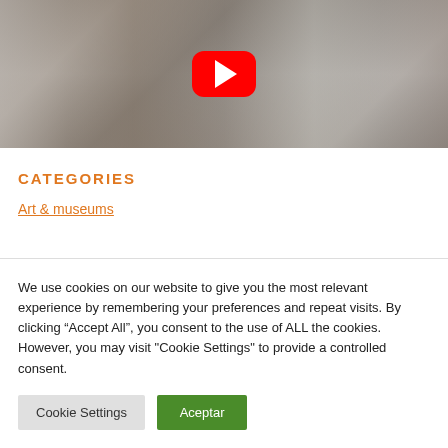[Figure (screenshot): YouTube video thumbnail showing a group of people on a city street, with a red YouTube play button overlay in the center]
CATEGORIES
Art & museums
We use cookies on our website to give you the most relevant experience by remembering your preferences and repeat visits. By clicking “Accept All”, you consent to the use of ALL the cookies. However, you may visit "Cookie Settings" to provide a controlled consent.